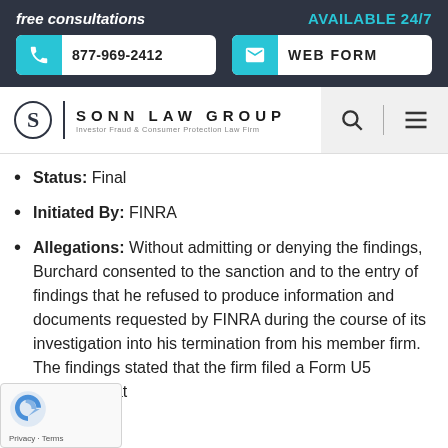free consultations   AVAILABLE 24/7   877-969-2412   WEB FORM
[Figure (logo): Sonn Law Group logo — Investor Fraud & Consumer Protection Law Firm]
Status: Final
Initiated By: FINRA
Allegations: Without admitting or denying the findings, Burchard consented to the sanction and to the entry of findings that he refused to produce information and documents requested by FINRA during the course of its investigation into his termination from his member firm. The findings stated that the firm filed a Form U5 reporting that